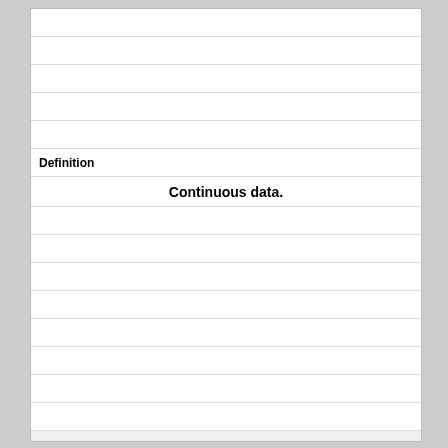|  |
|  |
|  |
|  |
|  |
| Definition |
| Continuous data. |
|  |
|  |
|  |
|  |
|  |
|  |
|  |
|  |
|  |
| Term |
| Digitizing |
|  |